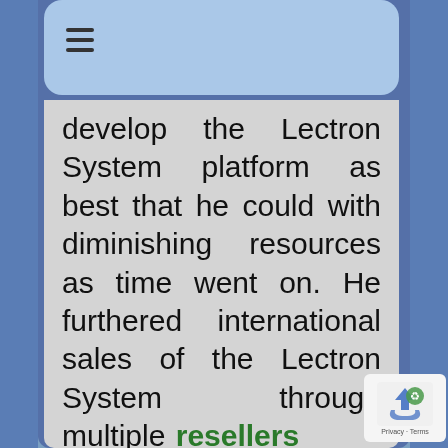☰
develop the Lectron System platform as best that he could with diminishing resources as time went on. He furthered international sales of the Lectron System through multiple resellers